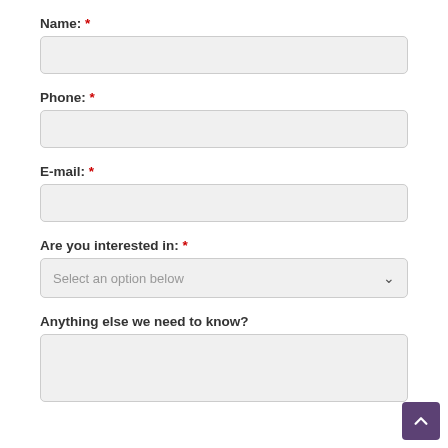Name: *
Phone: *
E-mail: *
Are you interested in: *
Anything else we need to know?